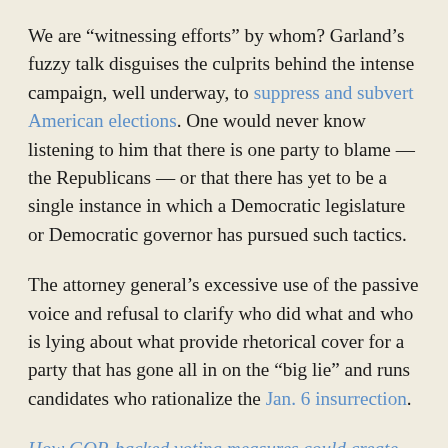We are “witnessing efforts” by whom? Garland’s fuzzy talk disguises the culprits behind the intense campaign, well underway, to suppress and subvert American elections. One would never know listening to him that there is one party to blame — the Republicans — or that there has yet to be a single instance in which a Democratic legislature or Democratic governor has pursued such tactics.
The attorney general’s excessive use of the passive voice and refusal to clarify who did what and who is lying about what provide rhetorical cover for a party that has gone all in on the “big lie” and runs candidates who rationalize the Jan. 6 insurrection.
How GOP-backed voting measures could create hurdles for tens of millions of voters